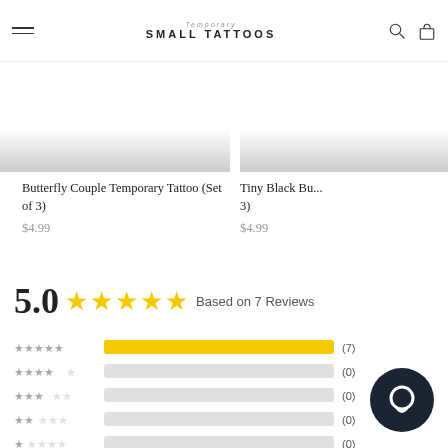Temporary SMALL TATTOOS
Butterfly Couple Temporary Tattoo (Set of 3)
$4.99
Tiny Black Bu... 3)
$4.99
5.0 ★★★★★ Based on 7 Reviews
[Figure (bar-chart): Rating distribution]